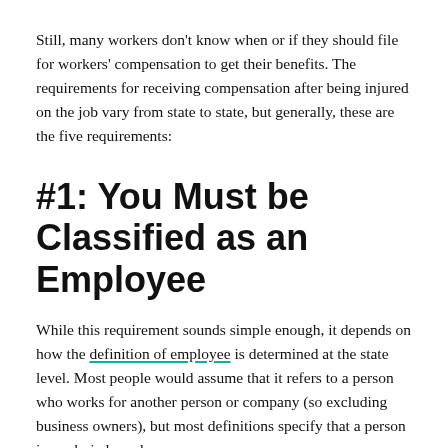Still, many workers don't know when or if they should file for workers' compensation to get their benefits. The requirements for receiving compensation after being injured on the job vary from state to state, but generally, these are the five requirements:
#1: You Must be Classified as an Employee
While this requirement sounds simple enough, it depends on how the definition of employee is determined at the state level. Most people would assume that it refers to a person who works for another person or company (so excluding business owners), but most definitions specify that a person is a salaried employee.